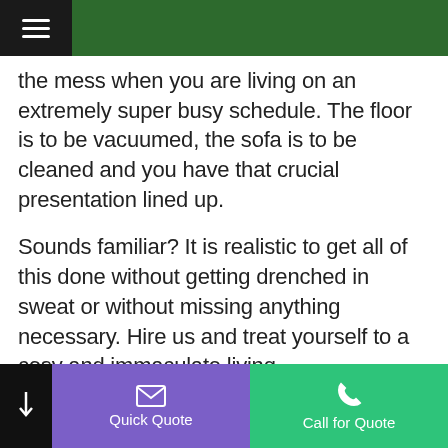[Navigation header with hamburger menu and dark green bar]
the mess when you are living on an extremely super busy schedule. The floor is to be vacuumed, the sofa is to be cleaned and you have that crucial presentation lined up.
Sounds familiar? It is realistic to get all of this done without getting drenched in sweat or without missing anything necessary. Hire us and treat yourself to a cosy and immaculate living.
We know home cleaning is needed but not something everyone loves to do. Squeezing in a slot for self-cleaning means pushing away other important things. You might not be able to clean the way you are supposed to.
Quick Quote | Call for Quote